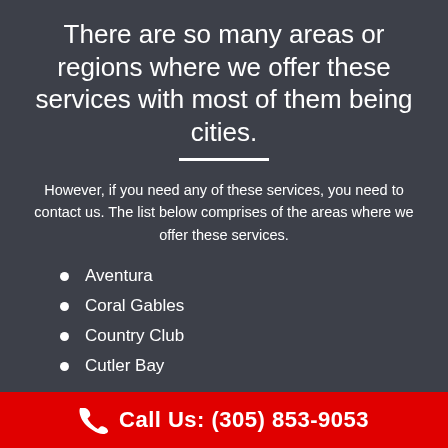There are so many areas or regions where we offer these services with most of them being cities.
However, if you need any of these services, you need to contact us. The list below comprises of the areas where we offer these services.
Aventura
Coral Gables
Country Club
Cutler Bay
Call Us: (305) 853-9053